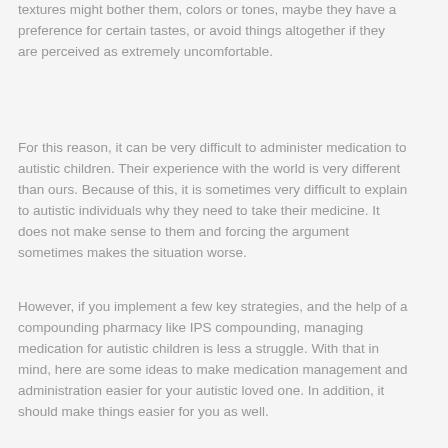textures might bother them, colors or tones, maybe they have a preference for certain tastes, or avoid things altogether if they are perceived as extremely uncomfortable.
For this reason, it can be very difficult to administer medication to autistic children. Their experience with the world is very different than ours. Because of this, it is sometimes very difficult to explain to autistic individuals why they need to take their medicine. It does not make sense to them and forcing the argument sometimes makes the situation worse.
However, if you implement a few key strategies, and the help of a compounding pharmacy like IPS compounding, managing medication for autistic children is less a struggle. With that in mind, here are some ideas to make medication management and administration easier for your autistic loved one. In addition, it should make things easier for you as well.